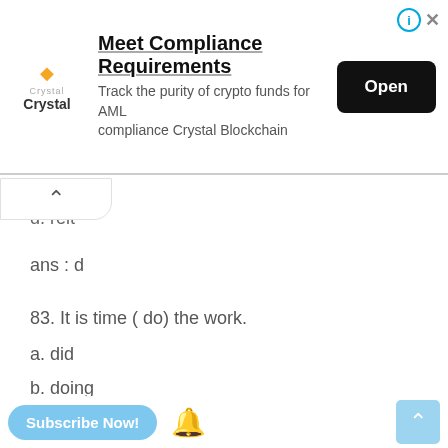[Figure (screenshot): Advertisement banner for Crystal Blockchain: 'Meet Compliance Requirements - Track the purity of crypto funds for AML compliance Crystal Blockchain' with an Open button]
d. reit
ans : d
83. It is time ( do) the work.
a. did
b. doing
c. does
d. to do